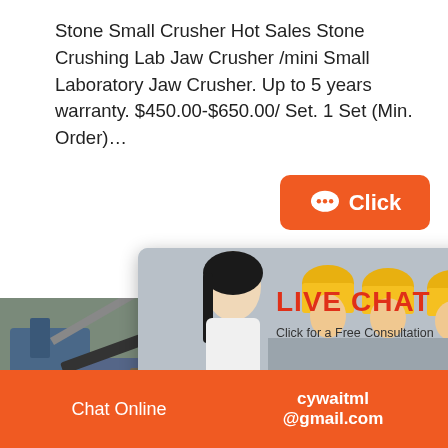Stone Small Crusher Hot Sales Stone Crushing Lab Jaw Crusher /mini Small Laboratory Jaw Crusher. Up to 5 years warranty. $450.00-$650.00/ Set. 1 Set (Min. Order)…
[Figure (screenshot): Orange 'Click' button with chat bubble icon]
[Figure (screenshot): Live chat popup over mining machinery background with workers in yellow helmets, LIVE CHAT title in red, 'Click for a Free Consultation' subtitle, Chat now (red) and Chat later (dark) buttons, agent photo panel with 'hour online' orange bar, 'Click to chat' orange pill button, and 'Enquiry' label]
Chat Online   cywaitml @gmail.com